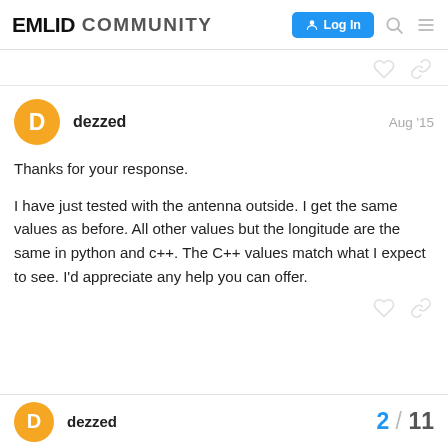EMLID COMMUNITY  Log In
dezzed  Aug '15

Thanks for your response.

I have just tested with the antenna outside. I get the same values as before. All other values but the longitude are the same in python and c++. The C++ values match what I expect to see. I'd appreciate any help you can offer.
dezzed  2 / 11